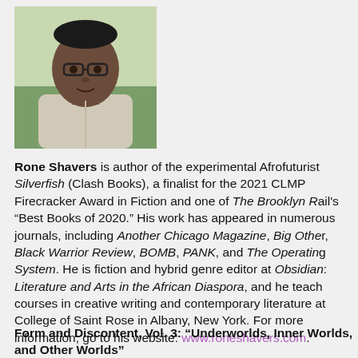[Figure (photo): Portrait photo of Rone Shavers, a man wearing glasses, outdoors with green background.]
Rone Shavers is author of the experimental Afrofuturist Silverfish (Clash Books), a finalist for the 2021 CLMP Firecracker Award in Fiction and one of The Brooklyn Rail's "Best Books of 2020." His work has appeared in numerous journals, including Another Chicago Magazine, Big Other, Black Warrior Review, BOMB, PANK, and The Operating System. He is fiction and hybrid genre editor at Obsidian: Literature and Arts in the African Diaspora, and he teaches courses in creative writing and contemporary literature at the College of Saint Rose in Albany, New York. For more information, go to his website: www.roneshavers.com.
Form and Discontent, Vol. 3: “Underworlds, Inner Worlds, and Other Worlds”